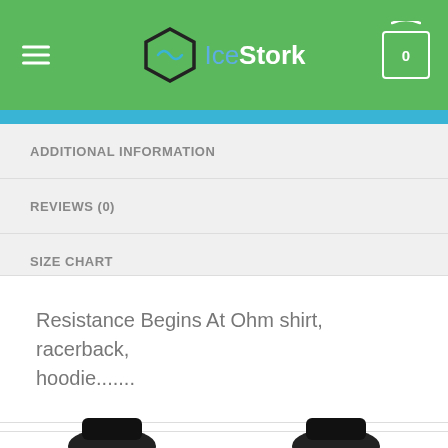IceStork
ADDITIONAL INFORMATION
REVIEWS (0)
SIZE CHART
Resistance Begins At Ohm shirt, racerback, hoodie.......
RELATED PRODUCTS
[Figure (photo): Two product thumbnail images of dark-colored shirts at the bottom of the page]